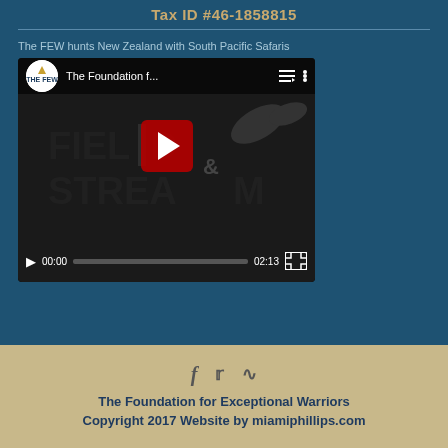Tax ID #46-1858815
The FEW hunts New Zealand with South Pacific Safaris
[Figure (screenshot): YouTube video embed showing 'The Foundation f...' with Field & Stream branding in the background. Video player shows timestamp 00:00 / 02:13 with play button overlay.]
The Foundation for Exceptional Warriors
Copyright 2017 Website by miamiphillips.com